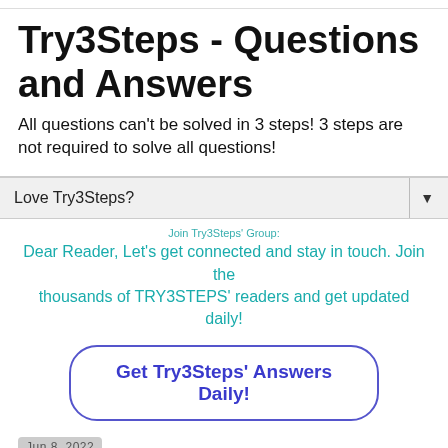Try3Steps - Questions and Answers
All questions can't be solved in 3 steps! 3 steps are not required to solve all questions!
Love Try3Steps?
Join Try3Steps' Group:
Dear Reader, Let's get connected and stay in touch. Join the thousands of TRY3STEPS' readers and get updated daily!
Get Try3Steps' Answers Daily!
Jun 8, 2022
[Answer] If tying the knot wasn't adventure enough, we gathered